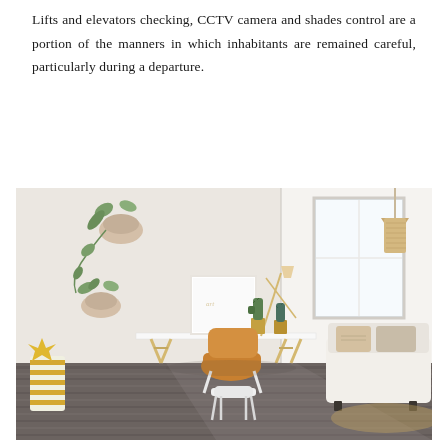Lifts and elevators checking, CCTV camera and shades control are a portion of the manners in which inhabitants are remained careful, particularly during a departure.
[Figure (photo): Interior photo of a modern white-walled living/work space with wooden floor, a white desk with a yellow-orange chair, wall-mounted plant holders with trailing plants, two potted cacti on the desk, a framed white canvas artwork, a pendant lamp on the right, a white sofa with cushions, a window, and a gold-striped cylindrical storage bin on the left.]